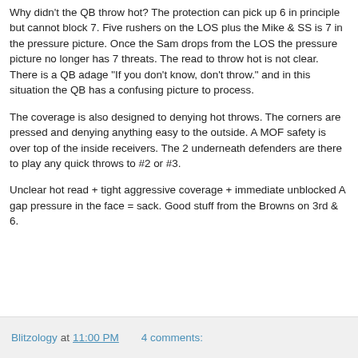Why didn't the QB throw hot? The protection can pick up 6 in principle but cannot block 7. Five rushers on the LOS plus the Mike & SS is 7 in the pressure picture. Once the Sam drops from the LOS the pressure picture no longer has 7 threats. The read to throw hot is not clear. There is a QB adage "If you don't know, don't throw." and in this situation the QB has a confusing picture to process.
The coverage is also designed to denying hot throws. The corners are pressed and denying anything easy to the outside. A MOF safety is over top of the inside receivers. The 2 underneath defenders are there to play any quick throws to #2 or #3.
Unclear hot read + tight aggressive coverage + immediate unblocked A gap pressure in the face = sack. Good stuff from the Browns on 3rd & 6.
Blitzology at 11:00 PM    4 comments: